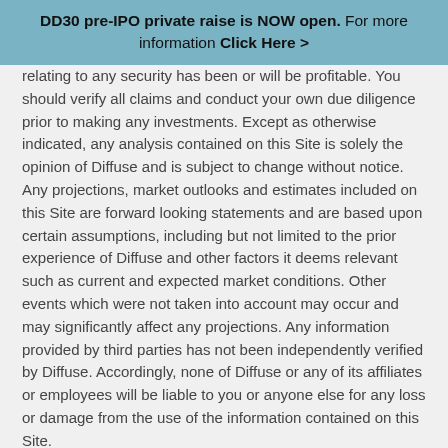DD30 pre-IPO private raise is NOW open. For more information Click Here >
relating to any security has been or will be profitable. You should verify all claims and conduct your own due diligence prior to making any investments. Except as otherwise indicated, any analysis contained on this Site is solely the opinion of Diffuse and is subject to change without notice. Any projections, market outlooks and estimates included on this Site are forward looking statements and are based upon certain assumptions, including but not limited to the prior experience of Diffuse and other factors it deems relevant such as current and expected market conditions. Other events which were not taken into account may occur and may significantly affect any projections. Any information provided by third parties has not been independently verified by Diffuse. Accordingly, none of Diffuse or any of its affiliates or employees will be liable to you or anyone else for any loss or damage from the use of the information contained on this Site.
Diffuse provides no advice or recommendations with respect to the use of this Site, nor do the contents of this Site constitute investment, legal, tax or accounting advice or advice regarding the suitability or